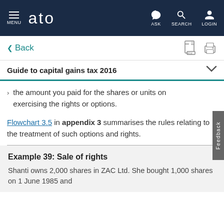MENU   ato   ASK   SEARCH   LOGIN
< Back
Guide to capital gains tax 2016
the amount you paid for the shares or units on exercising the rights or options.
Flowchart 3.5 in appendix 3 summarises the rules relating to the treatment of such options and rights.
Example 39: Sale of rights
Shanti owns 2,000 shares in ZAC Ltd. She bought 1,000 shares on 1 June 1985 and